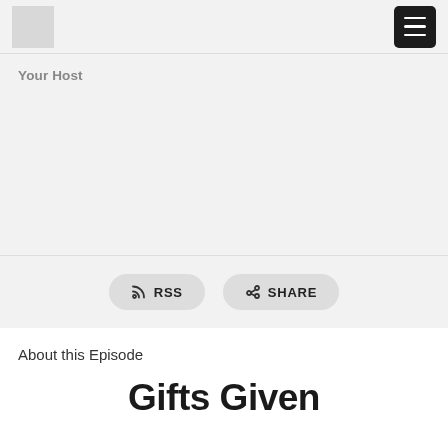[Figure (logo): Grey square logo placeholder in top left]
[Figure (other): Dark hamburger menu button in top right]
Your Host
[Figure (other): RSS and SHARE pill buttons]
About this Episode
Gifts Given